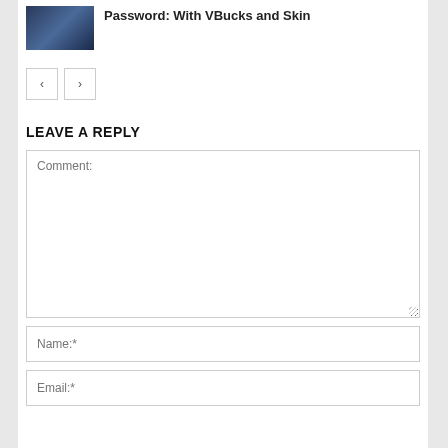[Figure (photo): Thumbnail image for article about Fortnite with dark blue/purple gaming scene]
Password: With VBucks and Skin
< >
LEAVE A REPLY
Comment:
Name:*
Email:*